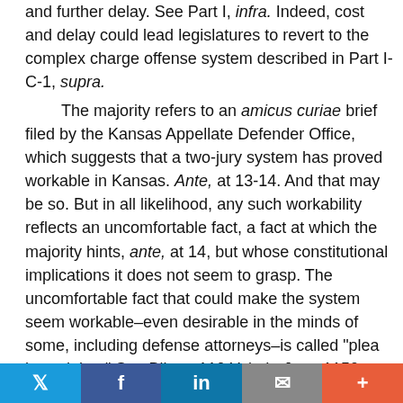and further delay. See Part I, infra. Indeed, cost and delay could lead legislatures to revert to the complex charge offense system described in Part I-C-1, supra.
The majority refers to an amicus curiae brief filed by the Kansas Appellate Defender Office, which suggests that a two-jury system has proved workable in Kansas. Ante, at 13-14. And that may be so. But in all likelihood, any such workability reflects an uncomfortable fact, a fact at which the majority hints, ante, at 14, but whose constitutional implications it does not seem to grasp. The uncomfortable fact that could make the system seem workable–even desirable in the minds of some, including defense attorneys–is called "plea bargaining." See Bibas, 110 Yale L. J., at 1150, and n. 330 (reporting that in 1996, fewer than 4% of adjudicated state felony defendants have jury trials, 5% have bench trials, and 91% plead guilty). See also ante, at 14
Twitter | Facebook | LinkedIn | Email | +